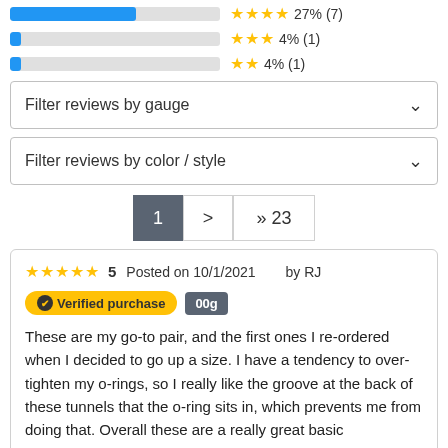[Figure (bar-chart): Rating distribution rows]
Filter reviews by gauge
Filter reviews by color / style
1 > >> 23
★★★★★ 5   Posted on 10/1/2021   by RJ
Verified purchase   00g
These are my go-to pair, and the first ones I re-ordered when I decided to go up a size. I have a tendency to over-tighten my o-rings, so I really like the groove at the back of these tunnels that the o-ring sits in, which prevents me from doing that. Overall these are a really great basic